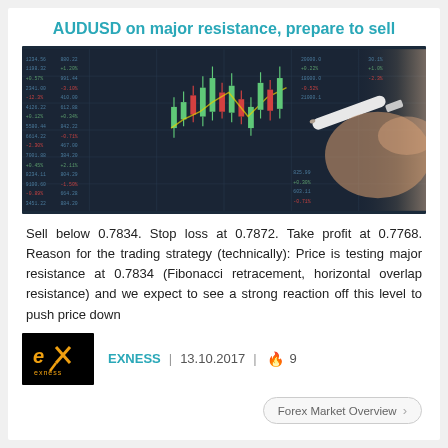AUDUSD on major resistance, prepare to sell
[Figure (photo): A hand holding a stylus pointing at a financial trading screen showing candlestick charts and market data tables with green and yellow data on dark background.]
Sell below 0.7834. Stop loss at 0.7872. Take profit at 0.7768. Reason for the trading strategy (technically): Price is testing major resistance at 0.7834 (Fibonacci retracement, horizontal overlap resistance) and we expect to see a strong reaction off this level to push price down
[Figure (logo): EXNESS logo — stylized 'EK' monogram in orange/gold on black background with 'exness' text below.]
EXNESS | 13.10.2017 | 🔥 9
Forex Market Overview